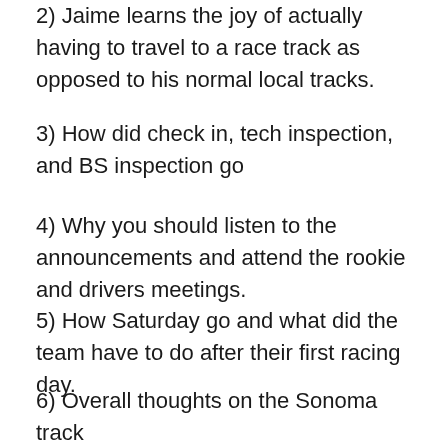2)  Jaime learns the joy of actually having to travel to a race track as opposed to his normal local tracks.
3)  How did check in, tech inspection, and BS inspection go
4)  Why you should listen to the announcements and attend the rookie and drivers meetings.
5)   How Saturday go and what did the team have to do after their first racing day.
6)  Overall thoughts on the Sonoma track
7)  What their team learned and what they are